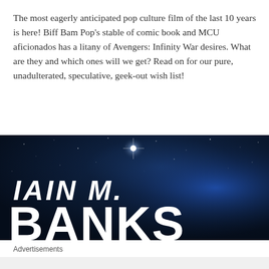The most eagerly anticipated pop culture film of the last 10 years is here! Biff Bam Pop's stable of comic book and MCU aficionados has a litany of Avengers: Infinity War desires. What are they and which ones will we get? Read on for our pure, unadulterated, speculative, geek-out wish list!
[Figure (photo): Dark blue space-themed background with bright star/light in upper center and the text 'IAIN M. BANKS' in large bold white letters. Bottom right corner has a circular close/X button.]
Advertisements